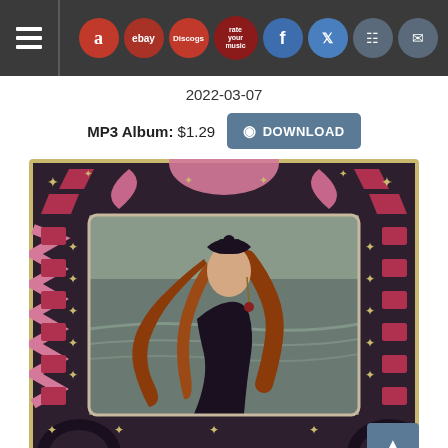Navigation bar with menu, marketplace icons (Amazon, eBay, Discogs, rate your music), and social icons (Facebook, Twitter, Instagram, Mail)
2022-03-07
MP3 Album: $1.29  [DOWNLOAD]
[Figure (photo): Album cover art: woman with long red hair wearing black dress and black floral headpiece, posed against a stormy sea background, framed by ornate Art Deco border with pink, red, gold, and black geometric and floral motifs]